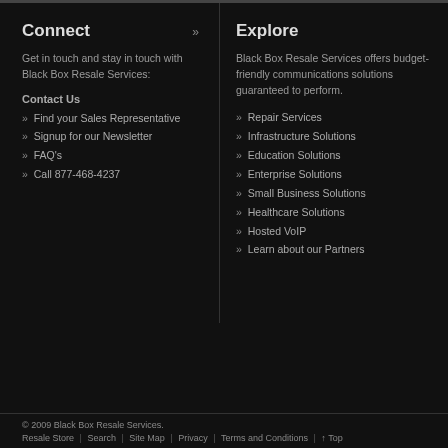Connect »
Get in touch and stay in touch with Black Box Resale Services:
Contact Us
» Find your Sales Representative
» Signup for our Newsletter
» FAQ's
» Call 877-468-4237
Explore
Black Box Resale Services offers budget-friendly communications solutions guaranteed to perform.
» Repair Services
» Infrastructure Solutions
» Education Solutions
» Enterprise Solutions
» Small Business Solutions
» Healthcare Solutions
» Hosted VoIP
» Learn about our Partners
© 2009 Black Box Resale Services. Resale Store | Search | Site Map | Privacy | Terms and Conditions | ↑ Top